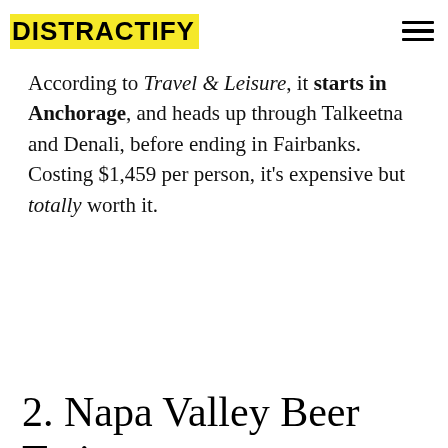DISTRACTIFY
According to Travel & Leisure, it starts in Anchorage, and heads up through Talkeetna and Denali, before ending in Fairbanks. Costing $1,459 per person, it's expensive but totally worth it.
2. Napa Valley Beer Train